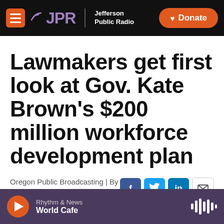JPR Jefferson Public Radio | Donate
Lawmakers get first look at Gov. Kate Brown's $200 million workforce development plan
Oregon Public Broadcasting | By Sam Stites
Published January 12, 2022 at 6:57 AM PST
Rhythm & News — World Cafe